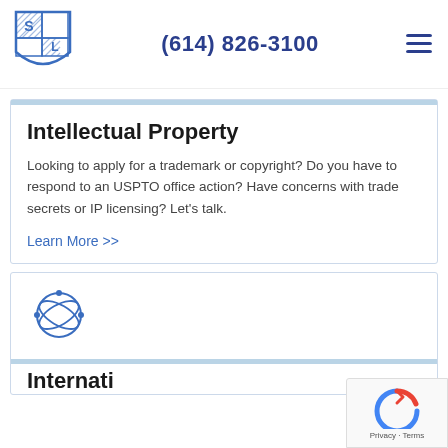[Figure (logo): SL law firm logo — shield shape with S and L letters, blue hatching pattern]
(614) 826-3100
[Figure (other): Hamburger menu icon (three horizontal lines)]
Intellectual Property
Looking to apply for a trademark or copyright? Do you have to respond to an USPTO office action? Have concerns with trade secrets or IP licensing? Let’s talk.
Learn More >>
[Figure (illustration): Globe/atom icon — circular globe with orbital rings and dots, blue outline style]
International